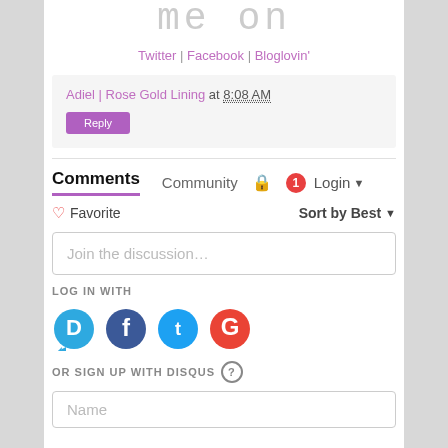me on
Twitter | Facebook | Bloglovin'
Adiel | Rose Gold Lining at 8:08 AM
Comments  Community  1  Login
Favorite  Sort by Best
Join the discussion…
LOG IN WITH
[Figure (infographic): Social login icons: Disqus (blue D with speech bubble), Facebook (dark blue f), Twitter (light blue t), Google (red G)]
OR SIGN UP WITH DISQUS ?
Name